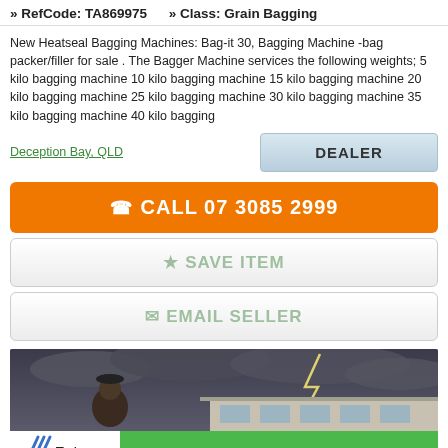» RefCode: TA869975   » Class: Grain Bagging
New Heatseal Bagging Machines: Bag-it 30, Bagging Machine -bag packer/filler for sale . The Bagger Machine services the following weights; 5 kilo bagging machine 10 kilo bagging machine 15 kilo bagging machine 20 kilo bagging machine 25 kilo bagging machine 30 kilo bagging machine 35 kilo bagging machine 40 kilo bagging
Deception Bay, QLD
DEALER
☎ CALL 07 3085 2999
★ SAVE ITEM
✉ EMAIL SELLER
[Figure (photo): Advertisement banner showing a man in dark clothing standing in front of a building with lightning in the stormy sky background. Entegra logo and green bar at the bottom with a close X button.]